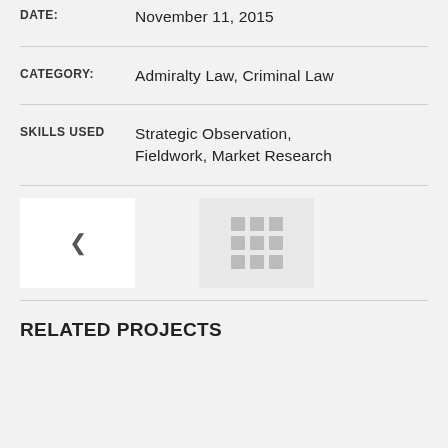DATE:   November 11, 2015
CATEGORY:   Admiralty Law, Criminal Law
SKILLS USED   Strategic Observation, Fieldwork, Market Research
[Figure (other): Navigation controls: a back chevron button on white background and a grid/app icon on light grey background]
RELATED PROJECTS